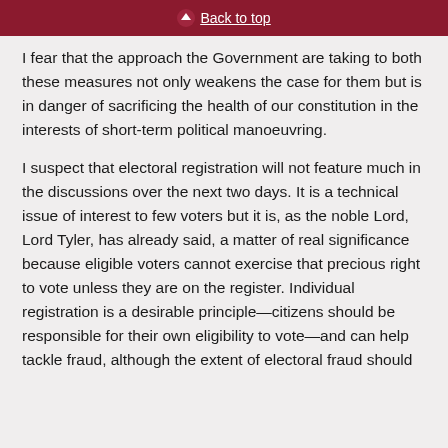Back to top
I fear that the approach the Government are taking to both these measures not only weakens the case for them but is in danger of sacrificing the health of our constitution in the interests of short-term political manoeuvring.
I suspect that electoral registration will not feature much in the discussions over the next two days. It is a technical issue of interest to few voters but it is, as the noble Lord, Lord Tyler, has already said, a matter of real significance because eligible voters cannot exercise that precious right to vote unless they are on the register. Individual registration is a desirable principle—citizens should be responsible for their own eligibility to vote—and can help tackle fraud, although the extent of electoral fraud should